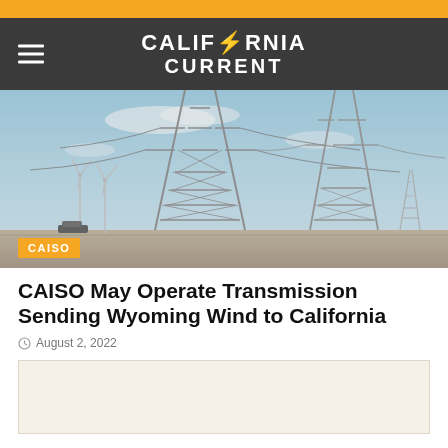California Current
[Figure (photo): Power transmission towers with wind turbines in a desert landscape under a blue sky, with a CAISO category tag in the lower left corner]
CAISO May Operate Transmission Sending Wyoming Wind to California
August 2, 2022
[Figure (other): Advertisement placeholder box]